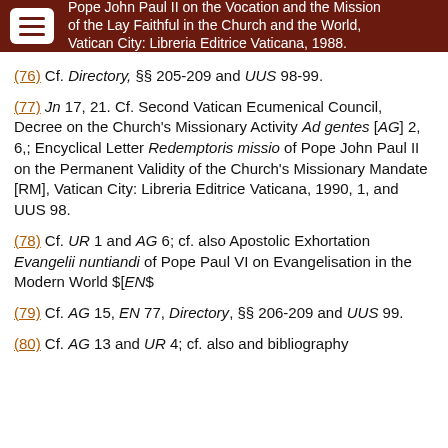Pope John Paul II on the Vocation and the Mission of the Lay Faithful in the Church and the World, Vatican City: Libreria Editrice Vaticana, 1988.
(76) Cf. Directory, §§ 205-209 and UUS 98-99.
(77) Jn 17, 21. Cf. Second Vatican Ecumenical Council, Decree on the Church's Missionary Activity Ad gentes [AG] 2, 6,; Encyclical Letter Redemptoris missio of Pope John Paul II on the Permanent Validity of the Church's Missionary Mandate [RM], Vatican City: Libreria Editrice Vaticana, 1990, 1, and UUS 98.
(78) Cf. UR 1 and AG 6; cf. also Apostolic Exhortation Evangelii nuntiandi of Pope Paul VI on Evangelisation in the Modern World $[EN$
(79) Cf. AG 15, EN 77, Directory, §§ 206-209 and UUS 99.
(80) Cf. AG 13 and UR 4; cf. also and bibliography